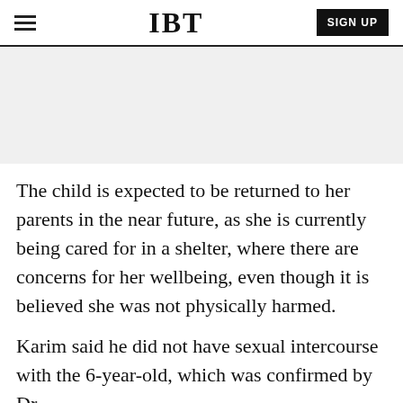IBT | SIGN UP
[Figure (other): Advertisement placeholder area, light grey background]
The child is expected to be returned to her parents in the near future, as she is currently being cared for in a shelter, where there are concerns for her wellbeing, even though it is believed she was not physically harmed.
Karim said he did not have sexual intercourse with the 6-year-old, which was confirmed by Dr.